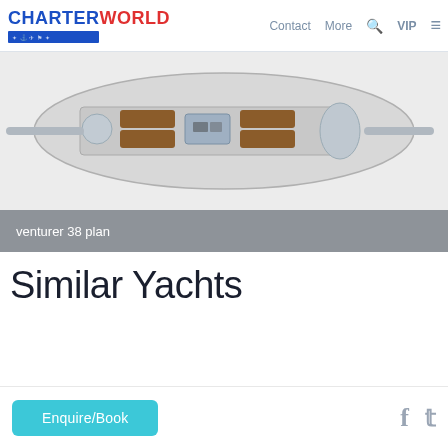CHARTERWORLD | Contact | More | VIP
[Figure (illustration): Top-down floor plan / schematic diagram of the Venturer 38 yacht interior layout, showing cabin arrangement with brown upholstery details on a light background]
venturer 38 plan
Similar Yachts
Enquire/Book